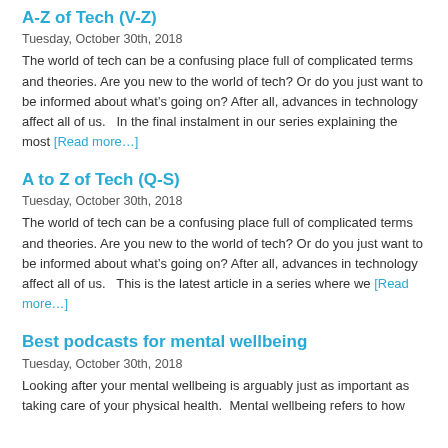A-Z of Tech (V-Z)
Tuesday, October 30th, 2018
The world of tech can be a confusing place full of complicated terms and theories. Are you new to the world of tech? Or do you just want to be informed about what’s going on? After all, advances in technology affect all of us.   In the final instalment in our series explaining the most [Read more…]
A to Z of Tech (Q-S)
Tuesday, October 30th, 2018
The world of tech can be a confusing place full of complicated terms and theories. Are you new to the world of tech? Or do you just want to be informed about what’s going on? After all, advances in technology affect all of us.   This is the latest article in a series where we [Read more…]
Best podcasts for mental wellbeing
Tuesday, October 30th, 2018
Looking after your mental wellbeing is arguably just as important as taking care of your physical health.  Mental wellbeing refers to how